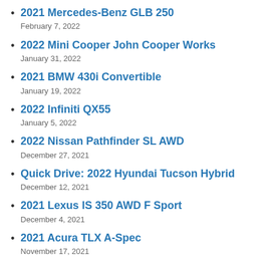2021 Mercedes-Benz GLB 250
February 7, 2022
2022 Mini Cooper John Cooper Works
January 31, 2022
2021 BMW 430i Convertible
January 19, 2022
2022 Infiniti QX55
January 5, 2022
2022 Nissan Pathfinder SL AWD
December 27, 2021
Quick Drive: 2022 Hyundai Tucson Hybrid
December 12, 2021
2021 Lexus IS 350 AWD F Sport
December 4, 2021
2021 Acura TLX A-Spec
November 17, 2021